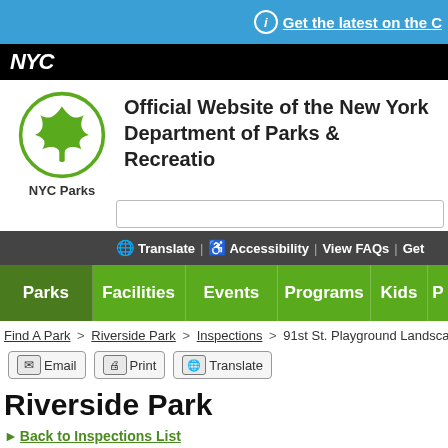Get the latest on the C
[Figure (logo): NYC black bar with NYC logo]
[Figure (logo): NYC Parks circular leaf logo with text NYC Parks]
Official Website of the New York Department of Parks & Recreation
Translate | Accessibility | View FAQs | Get
Parks | Facilities | Events | Programs | Kids | P
Find A Park > Riverside Park > Inspections > 91st St. Playground Landscape
Email | Print | Translate
Riverside Park
Back to Inspections List
91st St. Playground Landscape